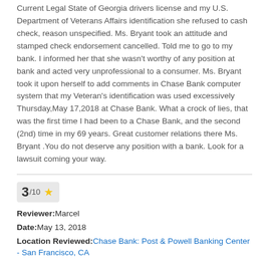Current Legal State of Georgia drivers license and my U.S. Department of Veterans Affairs identification she refused to cash check, reason unspecified. Ms. Bryant took an attitude and stamped check endorsement cancelled. Told me to go to my bank. I informed her that she wasn't worthy of any position at bank and acted very unprofessional to a consumer. Ms. Bryant took it upon herself to add comments in Chase Bank computer system that my Veteran's identification was used excessively Thursday,May 17,2018 at Chase Bank. What a crock of lies, that was the first time I had been to a Chase Bank, and the second (2nd) time in my 69 years. Great customer relations there Ms. Bryant .You do not deserve any position with a bank. Look for a lawsuit coming your way.
3/10 ★
Reviewer: Marcel
Date: May 13, 2018
Location Reviewed: Chase Bank: Post & Powell Banking Center - San Francisco, CA